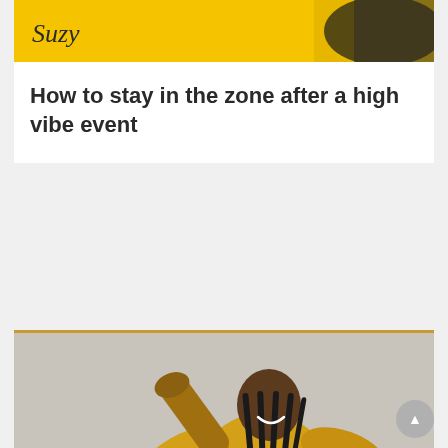[Figure (photo): Yellow background photo with a script/handwritten 'Suzy' signature text visible, partial view of a person in yellow top]
How to stay in the zone after a high vibe event
[Figure (photo): Woman in yellow dress with long braids, arms raised, smiling, on gray background. Watermark reads 'Suzy Ashworth']
Why getting intimate with your numbers is key to 6 figure success